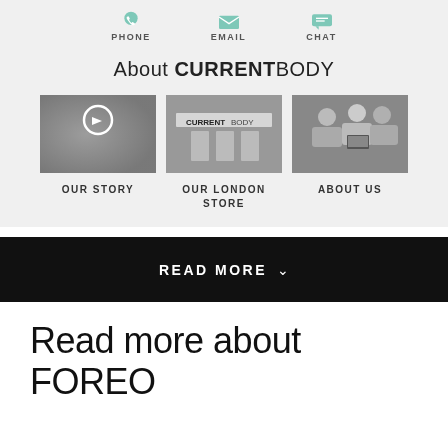[Figure (infographic): Top bar showing three contact methods: PHONE, EMAIL, CHAT with teal icons]
About CURRENTBODY
[Figure (photo): Black and white photo thumbnail showing a person with a play button overlay - OUR STORY]
OUR STORY
[Figure (photo): Black and white photo of CURRENTBODY store signage - OUR LONDON STORE]
OUR LONDON STORE
[Figure (photo): Black and white photo of people around a table with laptop - ABOUT US]
ABOUT US
READ MORE
Read more about FOREO